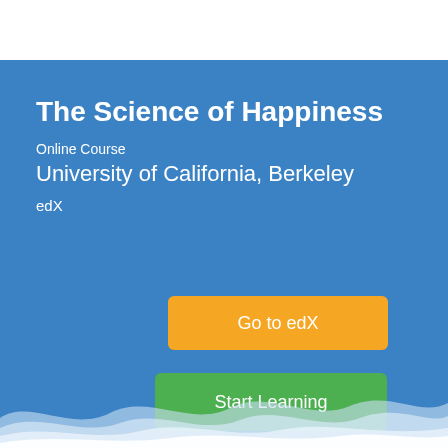The Science of Happiness
Online Course
University of California, Berkeley
edX
Go to edX
Start Learning